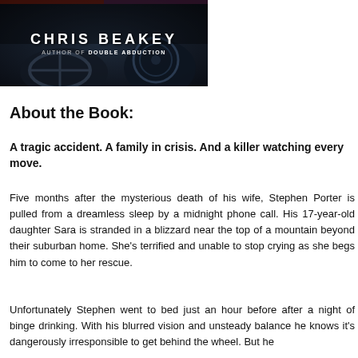[Figure (photo): Book cover image showing a dark car dashboard interior with the author name CHRIS BEAKEY and subtitle AUTHOR OF DOUBLE ABDUCTION displayed in white text]
About the Book:
A tragic accident. A family in crisis. And a killer watching every move.
Five months after the mysterious death of his wife, Stephen Porter is pulled from a dreamless sleep by a midnight phone call. His 17-year-old daughter Sara is stranded in a blizzard near the top of a mountain beyond their suburban home. She's terrified and unable to stop crying as she begs him to come to her rescue.
Unfortunately Stephen went to bed just an hour before after a night of binge drinking. With his blurred vision and unsteady balance he knows it's dangerously irresponsible to get behind the wheel. But he